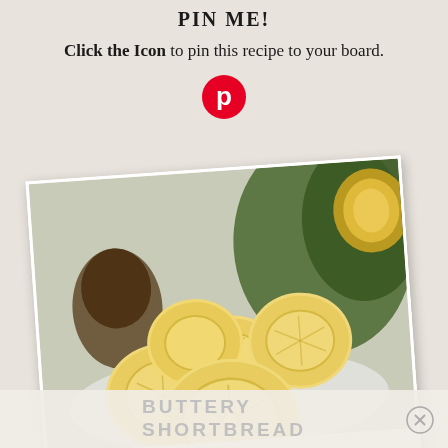PIN ME!
Click the Icon to pin this recipe to your board.
[Figure (logo): Pinterest logo icon — red circle with white P]
[Figure (photo): Photo of buttery shortbread cookies stacked on a plate, decorated with snowflake and gift box patterns, with pine cones and greenery in the background. The photo is rotated slightly counter-clockwise. A white label at the bottom reads BUTTERY.]
BUTTERY SHORTBREAD